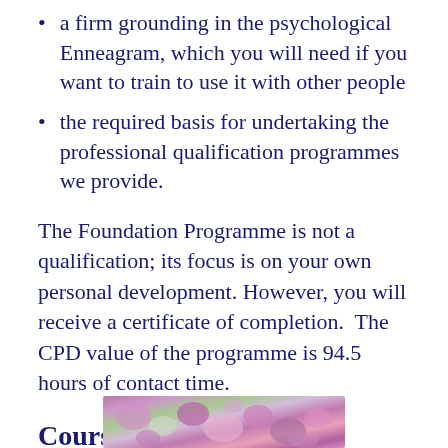a firm grounding in the psychological Enneagram, which you will need if you want to train to use it with other people
the required basis for undertaking the professional qualification programmes we provide.
The Foundation Programme is not a qualification; its focus is on your own personal development. However, you will receive a certificate of completion.  The CPD value of the programme is 94.5 hours of contact time.
Course Prices
[Figure (photo): Partial photo of flowers visible at the bottom of the page]